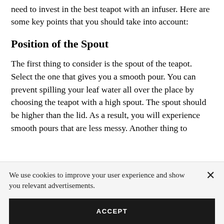need to invest in the best teapot with an infuser. Here are some key points that you should take into account:
Position of the Spout
The first thing to consider is the spout of the teapot. Select the one that gives you a smooth pour. You can prevent spilling your leaf water all over the place by choosing the teapot with a high spout. The spout should be higher than the lid. As a result, you will experience smooth pours that are less messy. Another thing to
We use cookies to improve your user experience and show you relevant advertisements.
ACCEPT